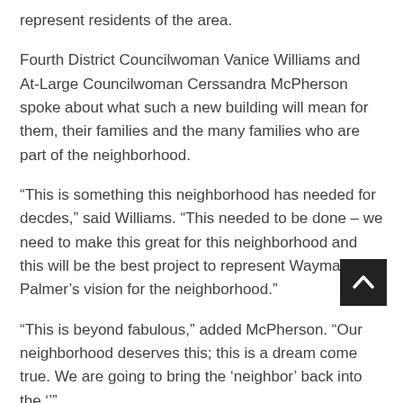represent residents of the area.
Fourth District Councilwoman Vanice Williams and At-Large Councilwoman Cerssandra McPherson spoke about what such a new building will mean for them, their families and the many families who are part of the neighborhood.
“This is something this neighborhood has needed for decdes,” said Williams. “This needed to be done – we need to make this great for this neighborhood and this will be the best project to represent Wayman Palmer’s vision for the neighborhood.”
“This is beyond fabulous,” added McPherson. “Our neighborhood deserves this; this is a dream come true. We are going to bring the ‘neighbor’ back into the ‘
The City of Toledo Department of Neighborhoods Director Rosalyn Clemens laid out how the financing will work.